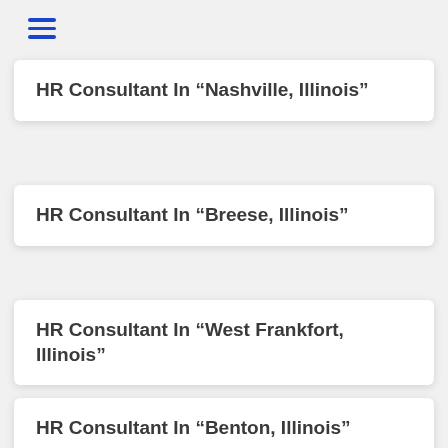[Figure (other): Hamburger menu icon with three horizontal blue lines]
HR Consultant In “Nashville, Illinois”
HR Consultant In “Breese, Illinois”
HR Consultant In “West Frankfort, Illinois”
HR Consultant In “Benton, Illinois”